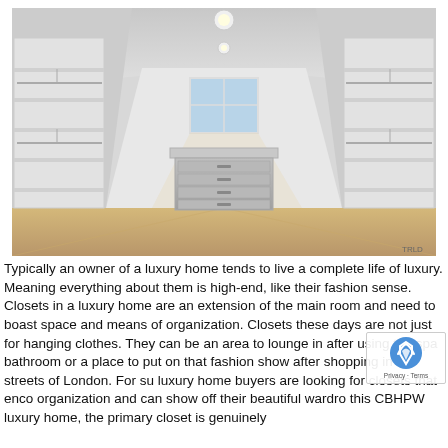[Figure (photo): Interior photo of a spacious luxury walk-in closet with white shelving and hanging rods on both sides, a central island dresser with multiple drawers, light hardwood flooring, vaulted ceiling with recessed lighting, and a small window at the far end letting in natural light.]
Typically an owner of a luxury home tends to live a complete life of luxury. Meaning everything about them is high-end, like their fashion sense. Closets in a luxury home are an extension of the main room and need to boast space and means of organization. Closets these days are not just for hanging clothes. They can be an area to lounge in after using the spa bathroom or a place to put on that fashion show after shopping in the streets of London. For su luxury home buyers are looking for closets that enco organization and can show off their beautiful wardro this CBHPW luxury home, the primary closet is genuinely